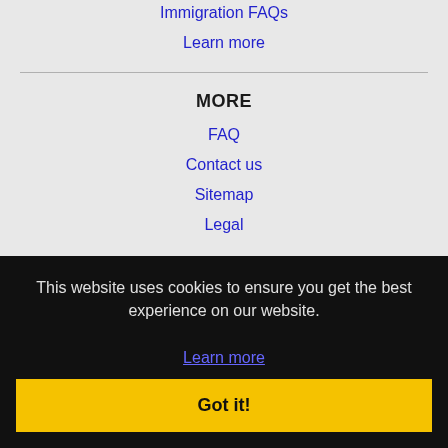Immigration FAQs
Learn more
MORE
FAQ
Contact us
Sitemap
Legal
This website uses cookies to ensure you get the best experience on our website.
Learn more
Got it!
Brentwood, CA Jobs